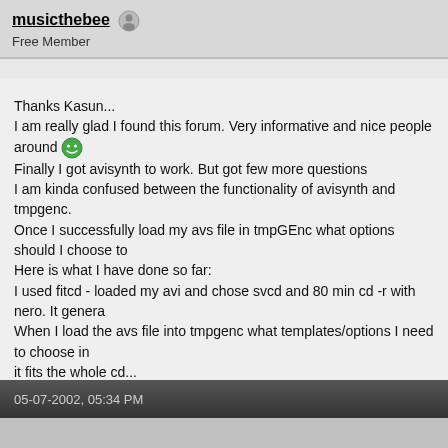musicthebee  Free Member
Thanks Kasun...

I am really glad I found this forum. Very informative and nice people around

Finally I got avisynth to work. But got few more questions
I am kinda confused between the functionality of avisynth and tmpgenc.
Once I successfully load my avs file in tmpGEnc what options should I choose to

Here is what I have done so far:
I used fitcd - loaded my avi and chose svcd and 80 min cd -r with nero. It genera

When I load the avs file into tmpgenc what templates/options I need to choose in
it fits the whole cd...


Thanks
05-07-2002, 05:34 PM